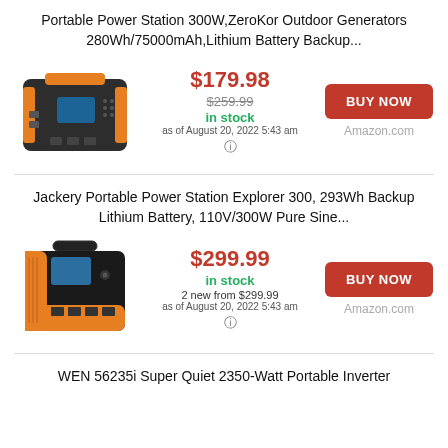Portable Power Station 300W,ZeroKor Outdoor Generators 280Wh/75000mAh,Lithium Battery Backup...
[Figure (photo): Portable power station product image - black and orange unit]
$179.98
$259.99 (strikethrough)
in stock
as of August 20, 2022 5:43 am
BUY NOW
Amazon.com
Jackery Portable Power Station Explorer 300, 293Wh Backup Lithium Battery, 110V/300W Pure Sine...
[Figure (photo): Jackery portable power station product image - black and orange unit with handle]
$299.99
in stock
2 new from $299.99
as of August 20, 2022 5:43 am
BUY NOW
Amazon.com
WEN 56235i Super Quiet 2350-Watt Portable Inverter